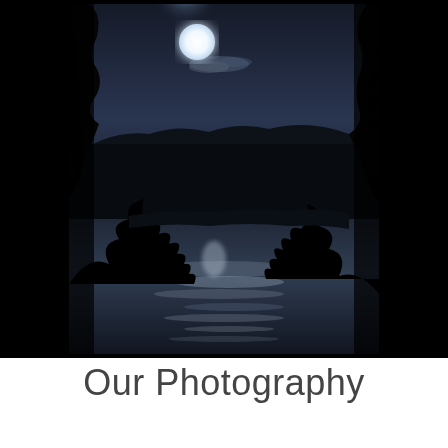[Figure (photo): A nighttime moonlit landscape photograph framed by silhouetted conifer trees on the left and right sides. A bright full moon glows in a dark grey-blue sky with faint clouds below it. In the lower portion, a body of water reflects the moonlight with shimmering silver ripples. Tree silhouettes frame the bottom corners as well. The image has a dramatic dark and moody atmosphere.]
Our Photography